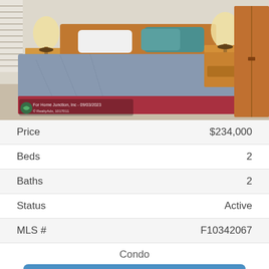[Figure (photo): Interior bedroom photo showing a bed with blue/grey bedding and red bed skirt, two wooden nightstands with lamps, and a wooden wardrobe. Watermark reads 'For Home Junction, Inc - 09/03/2023'.]
| Price | $234,000 |
| Beds | 2 |
| Baths | 2 |
| Status | Active |
| MLS # | F10342067 |
Condo
View Property Details